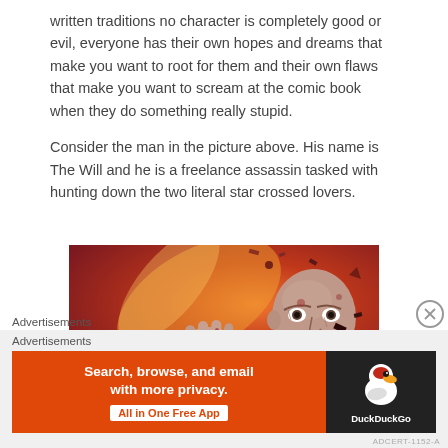written traditions no character is completely good or evil, everyone has their own hopes and dreams that make you want to root for them and their own flaws that make you want to scream at the comic book when they do something really stupid.
Consider the man in the picture above. His name is The Will and he is a freelance assassin tasked with hunting down the two literal star crossed lovers.
[Figure (illustration): Comic book illustration of a bald, scarred male character (The Will) with an intense expression, extending his hand toward the viewer against an orange-red explosive background with debris.]
Advertisements
[Figure (other): DuckDuckGo advertisement banner: 'Search, browse, and email with more privacy. All in One Free App' on orange background with DuckDuckGo duck logo on dark background.]